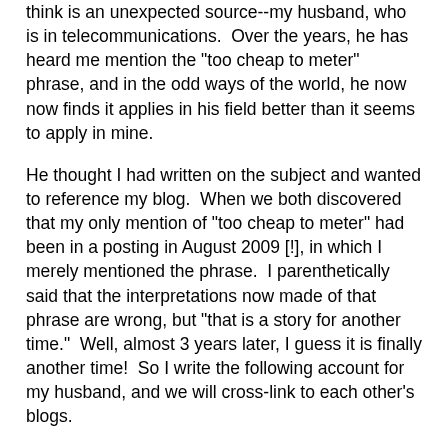think is an unexpected source--my husband, who is in telecommunications.  Over the years, he has heard me mention the "too cheap to meter" phrase, and in the odd ways of the world, he now now finds it applies in his field better than it seems to apply in mine.
He thought I had written on the subject and wanted to reference my blog.  When we both discovered that my only mention of "too cheap to meter" had been in a posting in August 2009 [!], in which I merely mentioned the phrase.  I parenthetically said that the interpretations now made of that phrase are wrong, but "that is a story for another time."  Well, almost 3 years later, I guess it is finally another time!  So I write the following account for my husband, and we will cross-link to each other's blogs.
The topic of "too cheap to meter" has come up so often during my career that I maintain a small file of clippings I've collected over the years pertaining to the origins and intended meaning of the phrase.  Perhaps the most telling indication of the persistence of the issue is that it is the one file I can always find easily!  There is absolutely nothing else